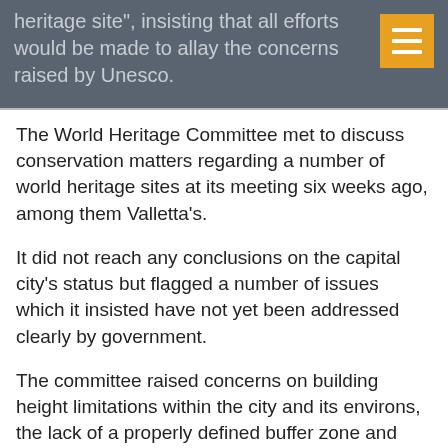heritage site", insisting that all efforts would be made to allay the concerns raised by Unesco.
The World Heritage Committee met to discuss conservation matters regarding a number of world heritage sites at its meeting six weeks ago, among them Valletta's.
It did not reach any conclusions on the capital city's status but flagged a number of issues which it insisted have not yet been addressed clearly by government.
The committee raised concerns on building height limitations within the city and its environs, the lack of a properly defined buffer zone and sparse information on the proposed Renzo Piano projects for City Gate.
Following a complaint received from Malta about the construction of a 16-storey building on the Tigné peninsula, the committee concluded that information submitted by government was "insufficiently clear to